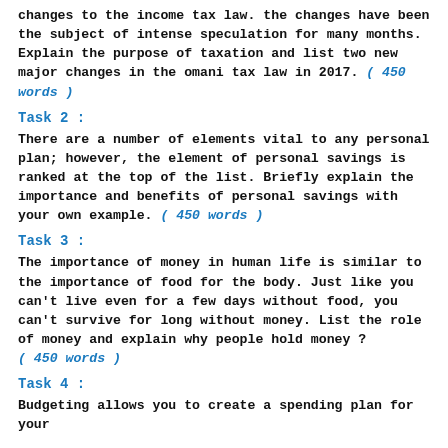changes to the income tax law. the changes have been the subject of intense speculation for many months. Explain the purpose of taxation and list two new major changes in the omani tax law in 2017. ( 450 words )
Task 2 :
There are a number of elements vital to any personal plan; however, the element of personal savings is ranked at the top of the list. Briefly explain the importance and benefits of personal savings with your own example. ( 450 words )
Task 3 :
The importance of money in human life is similar to the importance of food for the body. Just like you can't live even for a few days without food, you can't survive for long without money. List the role of money and explain why people hold money ? ( 450 words )
Task 4 :
Budgeting allows you to create a spending plan for your